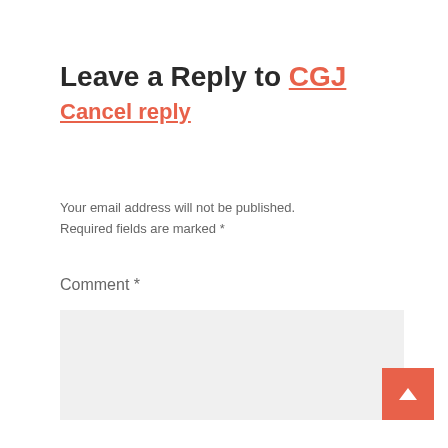Leave a Reply to CGJ Cancel reply
Your email address will not be published. Required fields are marked *
Comment *
[Figure (other): Empty comment text area input box with light grey background]
[Figure (other): Scroll-to-top button, orange square with white upward arrow]